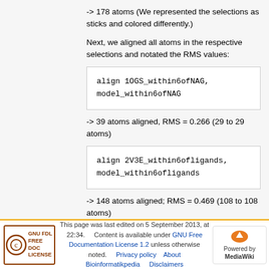-> 178 atoms (We represented the selections as sticks and colored differently.)
Next, we aligned all atoms in the respective selections and notated the RMS values:
align 1OGS_within6ofNAG, model_within6ofNAG
-> 39 atoms aligned, RMS = 0.266 (29 to 29 atoms)
align 2V3E_within6ofligands, model_within6ofligands
-> 148 atoms aligned; RMS = 0.469 (108 to 108 atoms)
This page was last edited on 5 September 2013, at 22:34. Content is available under GNU Free Documentation License 1.2 unless otherwise noted. Privacy policy About Bioinformatikpedia Disclaimers